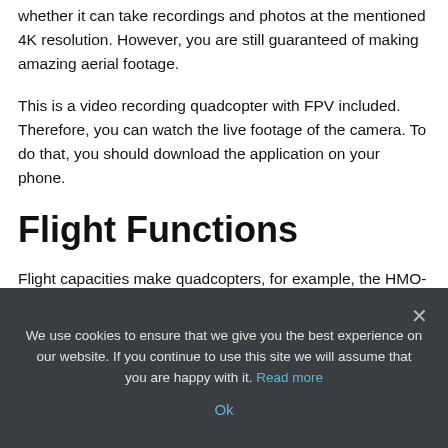whether it can take recordings and photos at the mentioned 4K resolution. However, you are still guaranteed of making amazing aerial footage.
This is a video recording quadcopter with FPV included. Therefore, you can watch the live footage of the camera. To do that, you should download the application on your phone.
Flight Functions
Flight capacities make quadcopters, for example, the HMO-F3 straightforward and amusing to appreciate. Here is a portion of the remarkable ones that you get with this quadcopter:
We use cookies to ensure that we give you the best experience on our website. If you continue to use this site we will assume that you are happy with it. Read more
Ok